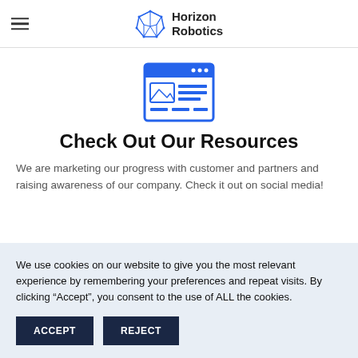Horizon Robotics
[Figure (illustration): Blue icon of a browser/webpage window with an image placeholder and text lines inside]
Check Out Our Resources
We are marketing our progress with customer and partners and raising awareness of our company. Check it out on social media!
We use cookies on our website to give you the most relevant experience by remembering your preferences and repeat visits. By clicking “Accept”, you consent to the use of ALL the cookies.